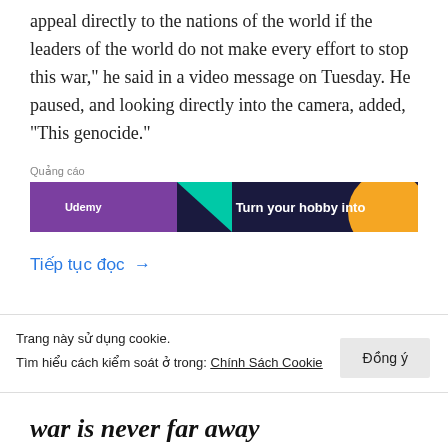appeal directly to the nations of the world if the leaders of the world do not make every effort to stop this war," he said in a video message on Tuesday. He paused, and looking directly into the camera, added, "This genocide."
[Figure (other): Advertisement banner with purple, dark navy, teal triangle, and orange circle. Text reads 'Turn your hobby into']
Tiếp tục đọc →
Trang này sử dụng cookie.
Tìm hiểu cách kiểm soát ở trong: Chính Sách Cookie
war is never far away